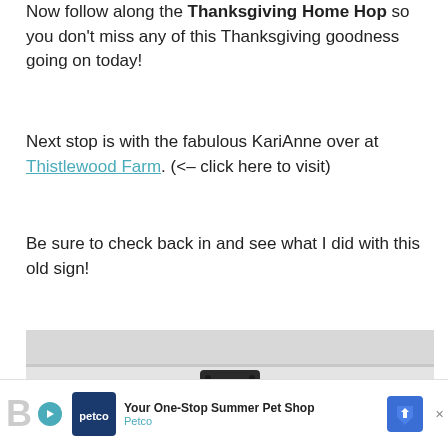Now follow along the Thanksgiving Home Hop so you don't miss any of this Thanksgiving goodness going on today!
Next stop is with the fabulous KariAnne over at Thistlewood Farm. (<– click here to visit)
Be sure to check back in and see what I did with this old sign!
[Figure (photo): A white wall with a dark metal wall-mounted bracket or hook fixture in the center, mounted on a white horizontal panel.]
[Figure (other): Advertisement banner: Petco 'Your One-Stop Summer Pet Shop' ad with Petco logo and blue diamond navigation icon.]